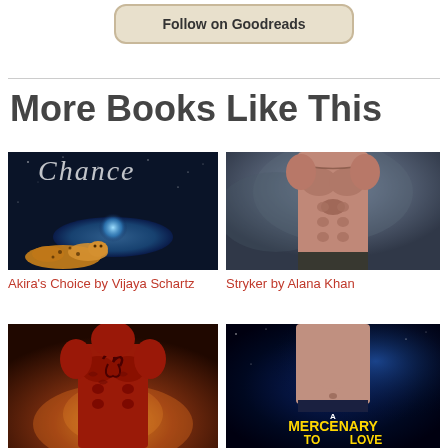[Figure (other): Button labeled 'Follow on Goodreads' with beige/tan rounded rectangle border]
More Books Like This
[Figure (illustration): Book cover for Akira's Choice - sci-fi scene with planet, glowing light beam, and cheetah lying down]
Akira's Choice by Vijaya Schartz
[Figure (illustration): Book cover for Stryker - muscular male torso on dark smoky background]
Stryker by Alana Khan
[Figure (illustration): Book cover showing red muscular alien/demon figure on orange/fire background]
[Figure (illustration): Book cover for A Mercenary to Love - muscular figure against space/galaxy background with gold title text]